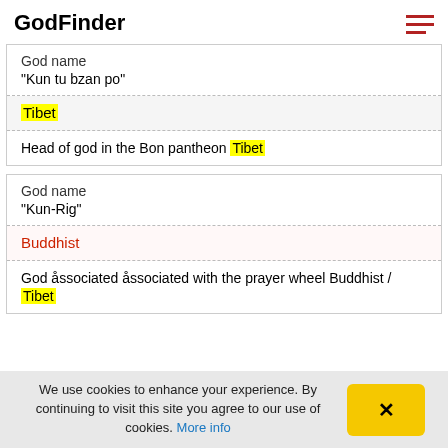GodFinder
| God name | "Kun tu bzan po" |
| Tibet |
| Head of god in the Bon pantheon Tibet |
| God name | "Kun-Rig" |
| Buddhist |
| God åssociated åssociated with the prayer wheel Buddhist / Tibet |
We use cookies to enhance your experience. By continuing to visit this site you agree to our use of cookies. More info